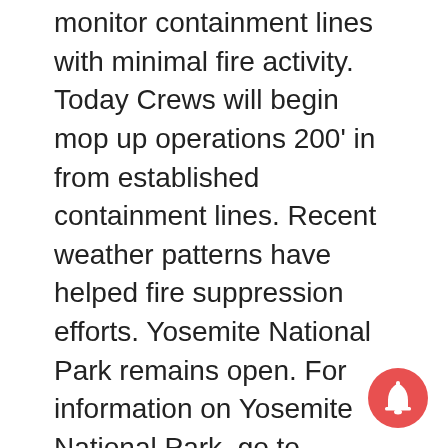monitor containment lines with minimal fire activity. Today Crews will begin mop up operations 200' in from established containment lines. Recent weather patterns have helped fire suppression efforts. Yosemite National Park remains open. For information on Yosemite National Park, go to nps.gov/yose or call 209-372-0200.
Mandatory Evacuations: Areas that are currently under a mandatory evacuation include: Addresses on Hwy.140 between Octagon Rd. and Colorado Rd., Bug Hostel, All of Buffalo Gulch Rd. and Briceburg Campground.
Evacuation Advisory: This is NOT an Evacuation Order. This is an advisement only of a potential